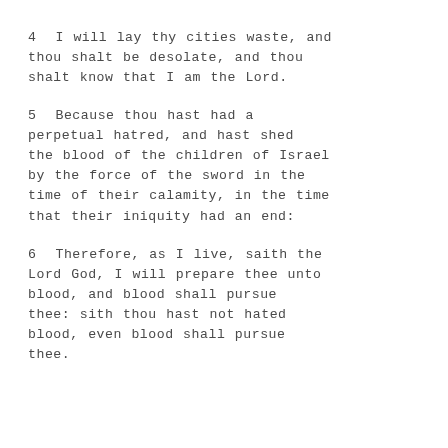4 I will lay thy cities waste, and thou shalt be desolate, and thou shalt know that I am the Lord.
5 Because thou hast had a perpetual hatred, and hast shed the blood of the children of Israel by the force of the sword in the time of their calamity, in the time that their iniquity had an end:
6 Therefore, as I live, saith the Lord God, I will prepare thee unto blood, and blood shall pursue thee: sith thou hast not hated blood, even blood shall pursue thee.